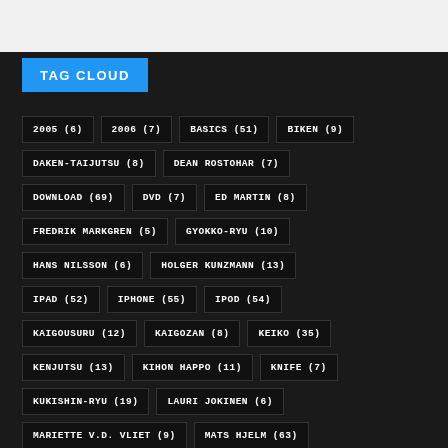TAG CLOUD
2005 (6) | 2006 (7) | BASICS (51) | BIKEN (9) | DAKEN-TAIJUTSU (8) | DEAN ROSTOHAR (7) | DOWNLOAD (69) | DVD (7) | ED MARTIN (8) | FREDRIK MARKGREN (5) | GYOKKO-RYU (10) | HANS NILSSON (6) | HOLGER KUNZMANN (13) | IPAD (52) | IPHONE (55) | IPOD (54) | KAIGOUSURU (12) | KAIGOZAN (8) | KEIKO (35) | KENJUTSU (13) | KIHON HAPPO (11) | KNIFE (7) | KUKISHIN-RYU (19) | LAURI JOKINEN (6) | MARIETTE V.D. VLIET (9) | MATS HJELM (63) | NINJUTSU (6) | NINPO-TAIJUTSU (5) | RYUHA (18)